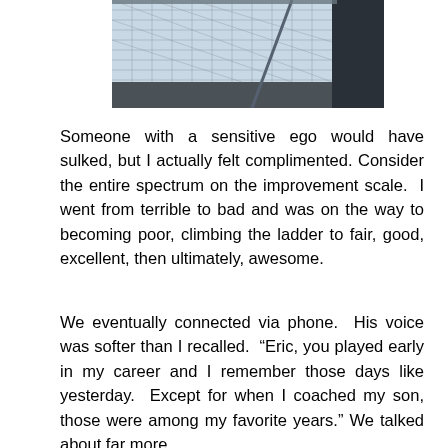[Figure (photo): Photograph of a chain-link or wire fence structure, likely a sports facility or stadium fence, with a light sky background visible through the mesh.]
Someone with a sensitive ego would have sulked, but I actually felt complimented. Consider the entire spectrum on the improvement scale. I went from terrible to bad and was on the way to becoming poor, climbing the ladder to fair, good, excellent, then ultimately, awesome.
We eventually connected via phone. His voice was softer than I recalled. “Eric, you played early in my career and I remember those days like yesterday. Except for when I coached my son, those were among my favorite years.” We talked about far more